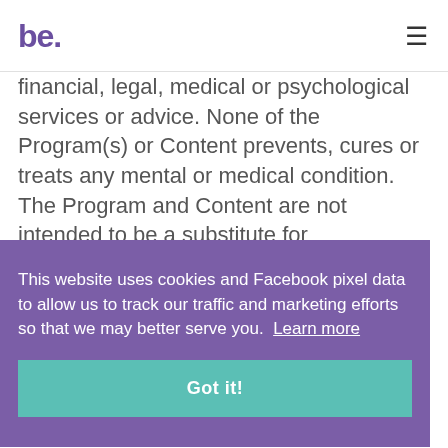be.
financial, legal, medical or psychological services or advice. None of the Program(s) or Content prevents, cures or treats any mental or medical condition. The Program and Content are not intended to be a substitute for professional advice that can be
This website uses cookies and Facebook pixel data to allow us to track our traffic and marketing efforts so that we may better serve you. Learn more
Got it!
The Company disclaims any